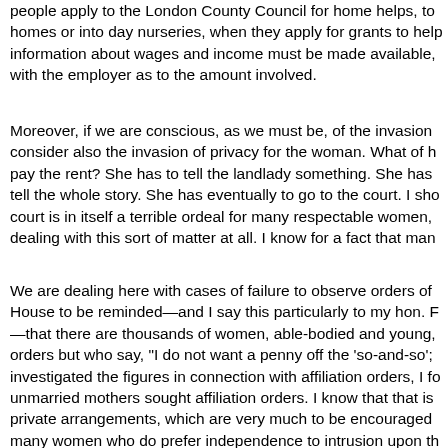people apply to the London County Council for home helps, to homes or into day nurseries, when they apply for grants to help information about wages and income must be made available, with the employer as to the amount involved.
Moreover, if we are conscious, as we must be, of the invasion consider also the invasion of privacy for the woman. What of h pay the rent? She has to tell the landlady something. She has tell the whole story. She has eventually to go to the court. I sho court is in itself a terrible ordeal for many respectable women, dealing with this sort of matter at all. I know for a fact that man
We are dealing here with cases of failure to observe orders of House to be reminded—and I say this particularly to my hon. F —that there are thousands of women, able-bodied and young, orders but who say, "I do not want a penny off the 'so-and-so'; investigated the figures in connection with affiliation orders, I fo unmarried mothers sought affiliation orders. I know that that is private arrangements, which are very much to be encouraged many women who do prefer independence to intrusion upon th they too have made a mistake, and who press on and do the b